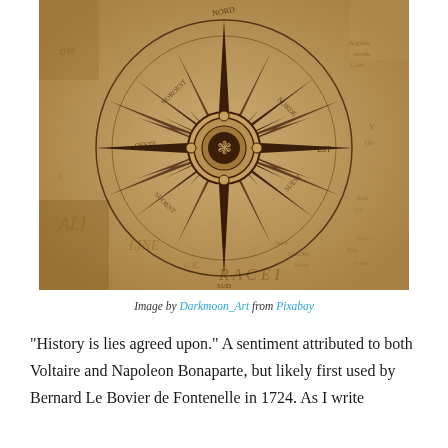[Figure (illustration): Vintage antique compass rose illustration on aged parchment map background, with decorative star points and circular border, dark brown engraving style]
Image by Darkmoon_Art from Pixabay
“History is lies agreed upon.” A sentiment attributed to both Voltaire and Napoleon Bonaparte, but likely first used by Bernard Le Bovier de Fontenelle in 1724. As I write